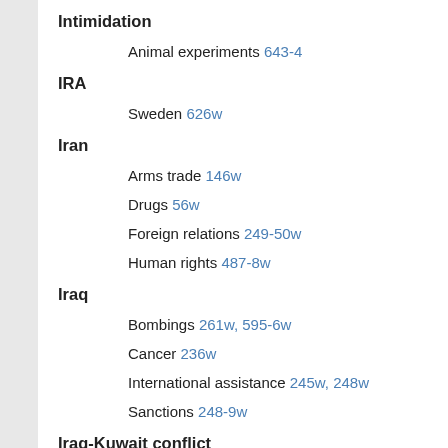Intimidation
Animal experiments 643-4
IRA
Sweden 626w
Iran
Arms trade 146w
Drugs 56w
Foreign relations 249-50w
Human rights 487-8w
Iraq
Bombings 261w, 595-6w
Cancer 236w
International assistance 245w, 248w
Sanctions 248-9w
Iraq-Kuwait conflict